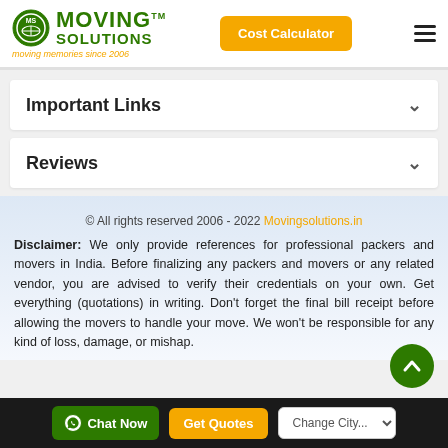Moving Solutions™ — moving memories since 2006 | Cost Calculator
Important Links
Reviews
© All rights reserved 2006 - 2022 Movingsolutions.in
Disclaimer: We only provide references for professional packers and movers in India. Before finalizing any packers and movers or any related vendor, you are advised to verify their credentials on your own. Get everything (quotations) in writing. Don't forget the final bill receipt before allowing the movers to handle your move. We won't be responsible for any kind of loss, damage, or mishap.
Chat Now | Get Quotes | Change City...